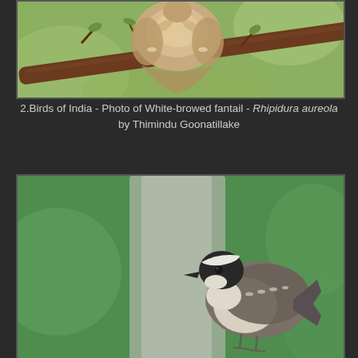[Figure (photo): Close-up photo of a White-browed fantail (Rhipidura aureola) bird perched on a branch, showing its brown/tan fluffy plumage, viewed from behind/side. Branches with small leaves visible in background.]
2.Birds of India - Photo of White-browed fantail - Rhipidura aureola by Thimindu Goonatillake
[Figure (photo): Photo of a White-browed fantail (Rhipidura aureola) bird perched, showing its distinctive white eyebrow stripe, dark head, white throat, and brown/grey wings. Green blurred background with a light grey column/pillar visible.]